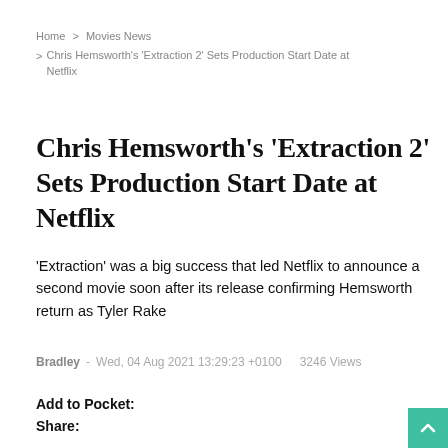Home > Movies News > Chris Hemsworth's 'Extraction 2' Sets Production Start Date at Netflix
Chris Hemsworth's 'Extraction 2' Sets Production Start Date at Netflix
'Extraction' was a big success that led Netflix to announce a second movie soon after its release confirming Hemsworth return as Tyler Rake
Bradley  -  Wed, 04 Aug 2021 13:29:23 +0100   3246 Views
Add to Pocket:
Share: